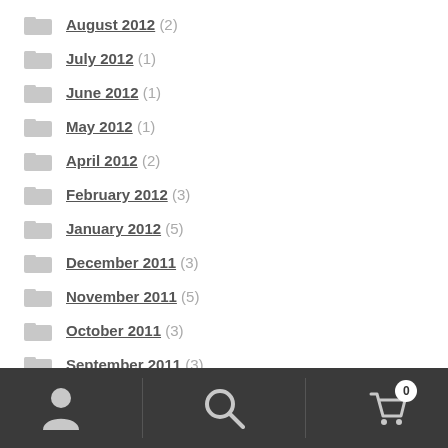August 2012 (2)
July 2012 (1)
June 2012 (1)
May 2012 (1)
April 2012 (2)
February 2012 (3)
January 2012 (5)
December 2011 (3)
November 2011 (5)
October 2011 (3)
September 2011 (3)
Navigation toolbar with user, search, and cart icons